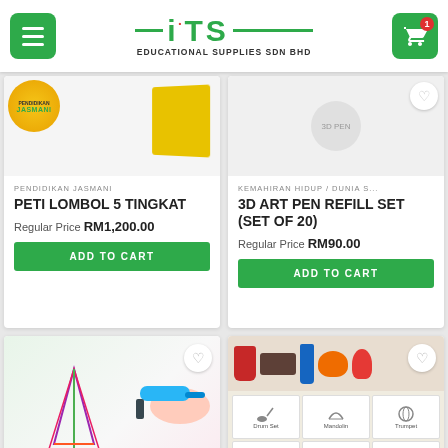ITS EDUCATIONAL SUPPLIES SDN BHD
PENDIDIKAN JASMANI
PETI LOMBOL 5 TINGKAT
Regular Price RM1,200.00
ADD TO CART
KEMAHIRAN HIDUP / DUNIA S...
3D ART PEN REFILL SET (SET OF 20)
Regular Price RM90.00
ADD TO CART
[Figure (photo): 3D art pen with colorful Eiffel Tower model and filament rolls, with Percuma label]
[Figure (photo): Stamp set with musical instrument worksheet cards and stamp tools]